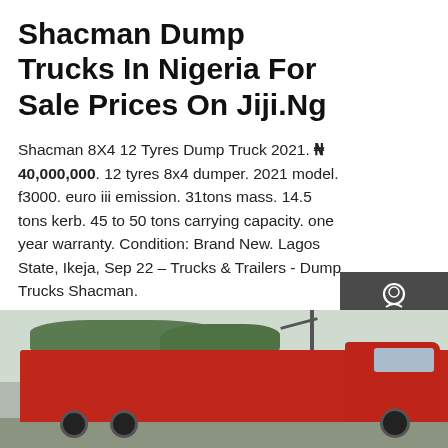Shacman Dump Trucks In Nigeria For Sale Prices On Jiji.Ng
Shacman 8X4 12 Tyres Dump Truck 2021. ₦ 40,000,000. 12 tyres 8x4 dumper. 2021 model. f3000. euro iii emission. 31tons mass. 14.5 tons kerb. 45 to 50 tons carrying capacity. one year warranty. Condition: Brand New. Lagos State, Ikeja, Sep 22 – Trucks & Trailers - Dump Trucks Shacman.
GET A QUOTE
[Figure (photo): Red Shacman dump truck parked outdoors with trees and utility poles in background]